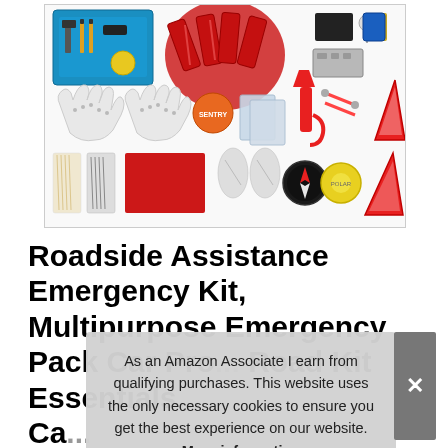[Figure (photo): Product photo of a Roadside Assistance Emergency Kit showing various items including tools, gloves, warning triangles, emergency hammer, compass, safety vest, and other car emergency supplies laid out on white background]
Roadside Assistance Emergency Kit, Multipurpose Emergency Pack Car Pro... Road Kit Essentials... Ca... Ro... Winter Car Kit
As an Amazon Associate I earn from qualifying purchases. This website uses the only necessary cookies to ensure you get the best experience on our website. More information